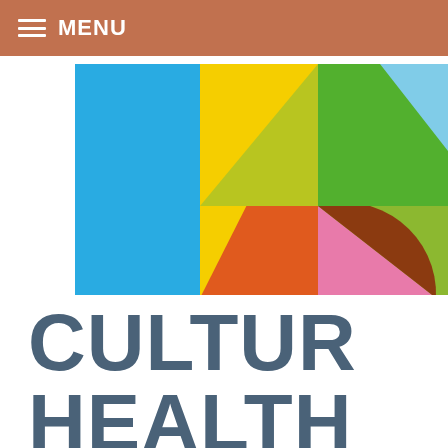MENU
[Figure (logo): Colorful geometric logo with overlapping shapes: blue quarter circle on left, yellow triangle/sector, orange semicircle, olive/yellow-green triangle upper center, green rectangle upper right, light blue triangle upper far right, pink triangle lower center-right, brown arc lower right. Abstract arrangement of colored geometric pieces.]
CULTUR HEALTH